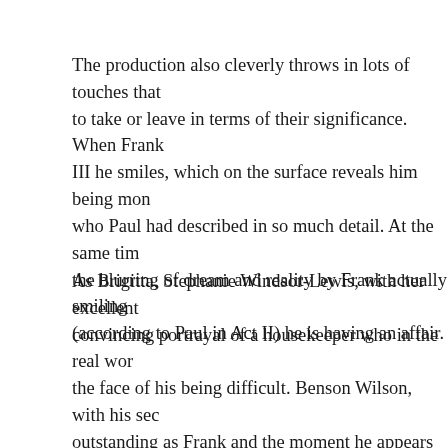The production also cleverly throws in lots of touches that to take or leave in terms of their significance. When Frank III he smiles, which on the surface reveals him being mon who Paul had described in so much detail. At the same tim the blurring of dream and reality by Frank actually smiling (according to Paul in Act II) he is having an affair.
As Brigitta, Stephanie Windsor-Lewis, with her excellent convincing portrayal of a housekeeper who in the real wor the face of his being difficult. Benson Wilson, with his sec outstanding as Frank and the moment he appears in Act II character in keeping with the altered way in which Paul pe Wilson, of course, also plays the Pierrot Fritz, with his per Königin' being especially moving. In the pit, Justin Brown powerful as it is precise, with the balance he achieves acro to bring out every layer of intrigue that is to be found with